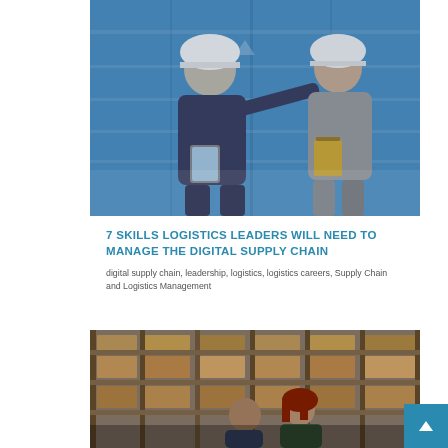[Figure (photo): Two workers wearing white hard hats standing in front of blue shipping containers. One man holds a tablet, the other holds a clipboard and points into the distance.]
7 SKILLS LOGISTICS LEADERS WILL NEED TO MANAGE THE DIGITAL SUPPLY CHAIN
digital supply chain, leadership, logistics, logistics careers, Supply Chain and Logistics Management
[Figure (photo): Workers in a warehouse with high shelving units stocked with boxes. A woman with red hair and a man are visible in the foreground.]